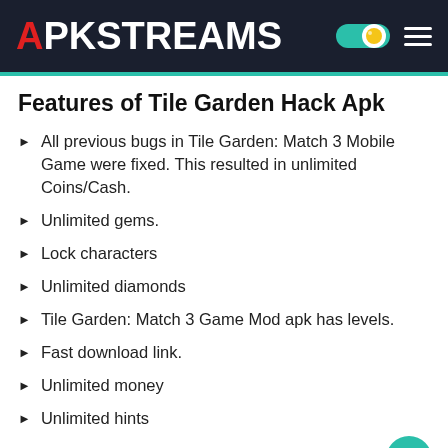APKSTREAMS
Features of Tile Garden Hack Apk
All previous bugs in Tile Garden: Match 3 Mobile Game were fixed. This resulted in unlimited Coins/Cash.
Unlimited gems.
Lock characters
Unlimited diamonds
Tile Garden: Match 3 Game Mod apk has levels.
Fast download link.
Unlimited money
Unlimited hints
How to Download and Use Mod Apk